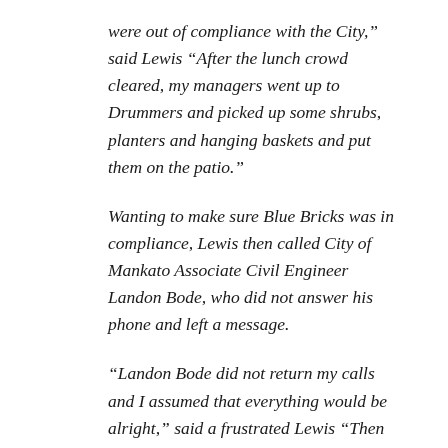were out of compliance with the City," said Lewis "After the lunch crowd cleared, my managers went up to Drummers and picked up some shrubs, planters and hanging baskets and put them on the patio."
Wanting to make sure Blue Bricks was in compliance, Lewis then called City of Mankato Associate Civil Engineer Landon Bode, who did not answer his phone and left a message.
"Landon Bode did not return my calls and I assumed that everything would be alright," said a frustrated Lewis "Then at around 5:30 p.m. that day, two Mankato Police